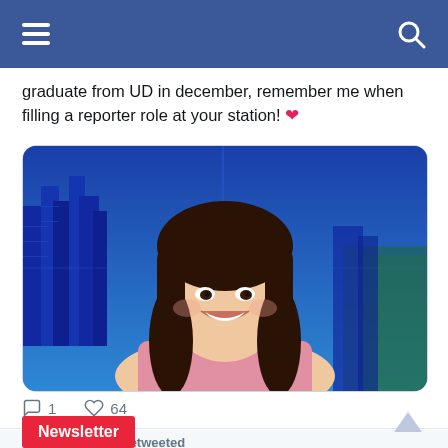[Figure (screenshot): Mobile app top navigation bar with hamburger menu icon on left and search icon on right, blue background]
graduate from UD in december, remember me when filling a reporter role at your station! ❤
[Figure (photo): Young woman with long dark hair smiling, wearing a pink floral top, posed in front of a blue city skyline news studio background]
💬 1   ♡ 64
🔁 Flyer News Retweeted
CDC ✓ @CDCgov · Aug 11
Newsletter